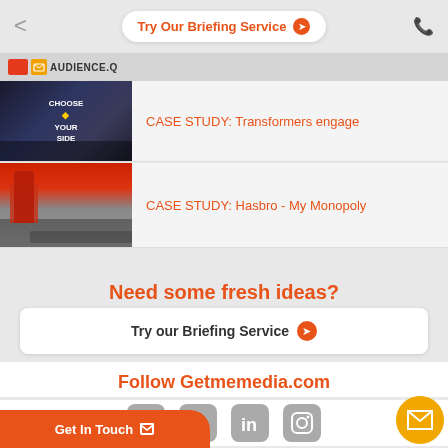Try Our Briefing Service
AUDIENCE.Q
CASE STUDY: Transformers engage
CASE STUDY: Hasbro - My Monopoly
Need some fresh ideas?
Try our Briefing Service
Follow Getmemedia.com
Get In Touch